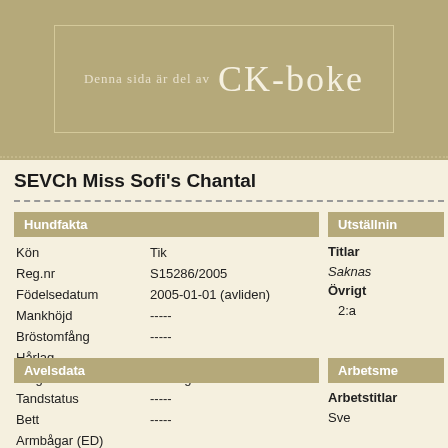Denna sida är del av CK-boke
SEVCh Miss Sofi's Chantal
Hundfakta
| Field | Value |
| --- | --- |
| Kön | Tik |
| Reg.nr | S15286/2005 |
| Födelsedatum | 2005-01-01 (avliden) |
| Mankhöjd | ----- |
| Bröstomfång | ----- |
| Hårlag | ----- |
| Färg | Trefärgad |
Avelsdata
| Field | Value |
| --- | --- |
| Tandstatus | ----- |
| Bett | ----- |
| Armbågar (ED) |  |
Utställnin
Titlar
Saknas
Övrigt
2:a
Arbetsme
Arbetstitlar
Sve